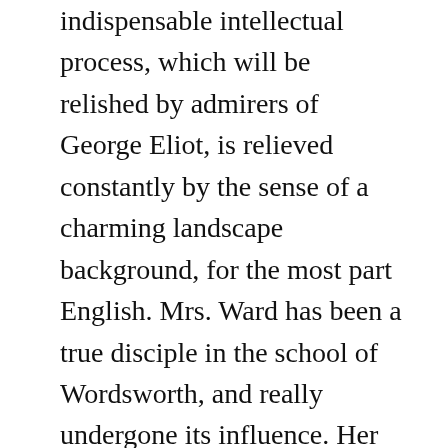indispensable intellectual process, which will be relished by admirers of George Eliot, is relieved constantly by the sense of a charming landscape background, for the most part English. Mrs. Ward has been a true disciple in the school of Wordsworth, and really undergone its influence. Her Westmorland scenery is more than a mere background; its spiritual and, as it were, personal hold on persons, as understood by the great poet of the Lakes, is seen actually at work, in the formation, in the refining, of character. It has been a stormy day: “ Before him the great hollow of High Fell was just coming out from the white mists surging round it. A shaft of sunlight lay across its upper end, and he caught a marvellous apparition of a sunlit valley hung